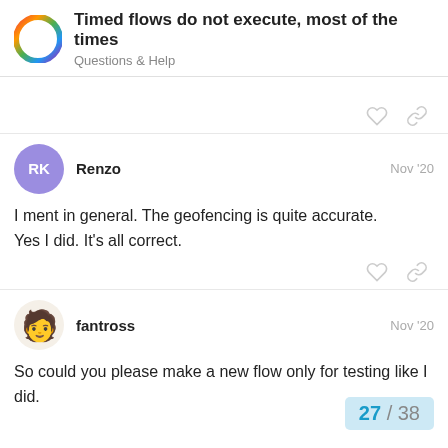Timed flows do not execute, most of the times | Questions & Help
(truncated link text)
Renzo Nov '20
I ment in general. The geofencing is quite accurate.
Yes I did. It's all correct.
fantross Nov '20
So could you please make a new flow only for testing like I did.
27 / 38